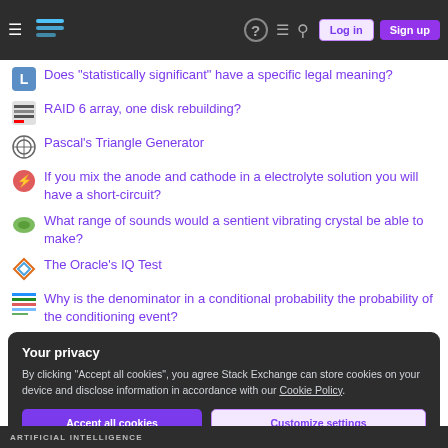Stack Exchange navigation bar with Log in and Sign up buttons
Does "statistically significant" have a specific legal meaning?
RAID 6 array, one disk rebuilding?
Pascal's Triangle Generator
If you mix the anode and cathode in a electrolyte solution you will have a short-circuit?
What range of sounds would a sentient vibrating crystal be able to make?
The Oracle's IQ Test
Why is the denominator in a conditional probability the probability of the conditioning event?
Your privacy
By clicking "Accept all cookies", you agree Stack Exchange can store cookies on your device and disclose information in accordance with our Cookie Policy.
ARTIFICIAL INTELLIGENCE